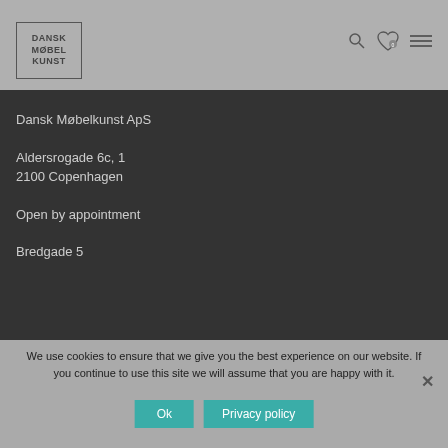DANSK MØBEL KUNST
[Figure (logo): Dansk Møbel Kunst logo in a rectangular border with text]
Dansk Møbelkunst ApS
Aldersrogade 6c, 1
2100 Copenhagen
Open by appointment
Bredgade 5
We use cookies to ensure that we give you the best experience on our website. If you continue to use this site we will assume that you are happy with it.